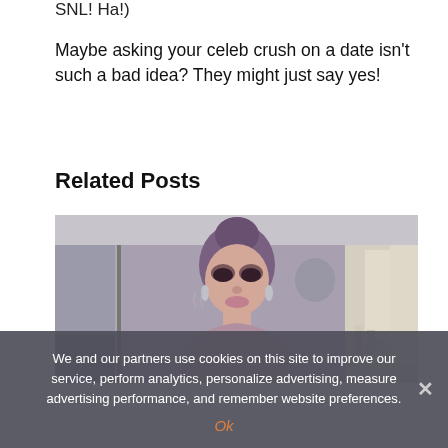SNL! Ha!)
Maybe asking your celeb crush on a date isn't such a bad idea? They might just say yes!
Related Posts
[Figure (photo): A woman with purple hair in a bun, heavy eye makeup, getting her makeup done in a mirror-lined room]
We and our partners use cookies on this site to improve our service, perform analytics, personalize advertising, measure advertising performance, and remember website preferences.
Ok